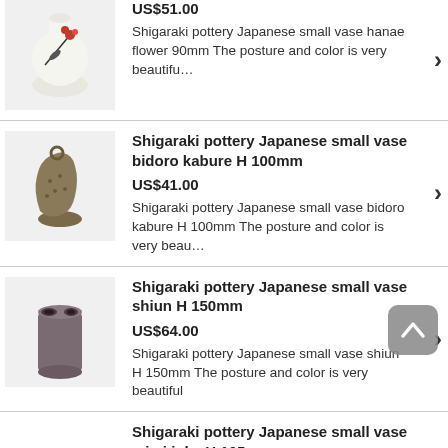[Figure (photo): White ceramic vase with red flower design]
US$51.00
Shigaraki pottery Japanese small vase hanae flower 90mm The posture and color is very beautifu…
Shigaraki pottery Japanese small vase bidoro kabure H 100mm
US$41.00
[Figure (photo): Small bronze-colored textured vase with handle, bidoro kabure style]
Shigaraki pottery Japanese small vase bidoro kabure H 100mm The posture and color is very beau…
Shigaraki pottery Japanese small vase shiun H 150mm
US$64.00
[Figure (photo): Small dark purple/grey cylinder-shaped vase, shiun style]
Shigaraki pottery Japanese small vase shiun H 150mm The posture and color is very beautiful
Shigaraki pottery Japanese small vase mimi inka H 105mm